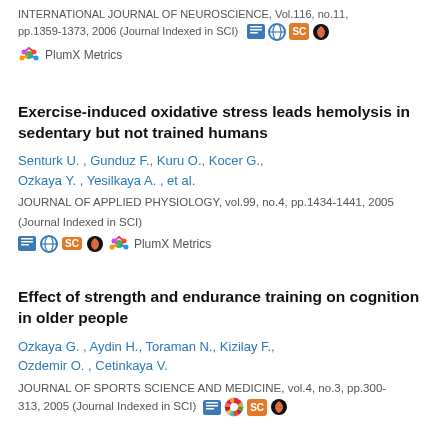INTERNATIONAL JOURNAL OF NEUROSCIENCE, Vol.116, no.11, pp.1359-1373, 2006 (Journal Indexed in SCI)
PlumX Metrics
Exercise-induced oxidative stress leads hemolysis in sedentary but not trained humans
Senturk U. , Gunduz F., Kuru O., Kocer G., Ozkaya Y. , Yesilkaya A. , et al.
JOURNAL OF APPLIED PHYSIOLOGY, vol.99, no.4, pp.1434-1441, 2005 (Journal Indexed in SCI)
Effect of strength and endurance training on cognition in older people
Ozkaya G. , Aydin H., Toraman N., Kizilay F., Ozdemir O. , Cetinkaya V.
JOURNAL OF SPORTS SCIENCE AND MEDICINE, vol.4, no.3, pp.300-313, 2005 (Journal Indexed in SCI)
The effects of environmental light-dark changes on